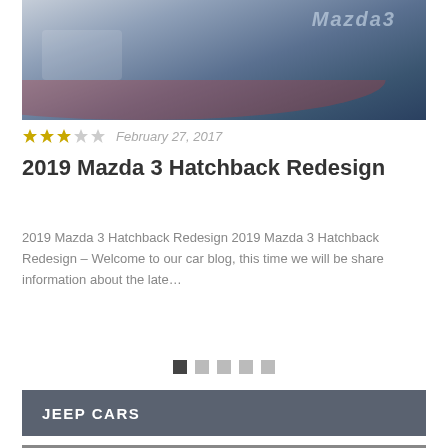[Figure (photo): Close-up photo of a Mazda 3 badge on the car body, blue-grey metallic finish]
★★★☆☆   February 27, 2017
2019 Mazda 3 Hatchback Redesign
2019 Mazda 3 Hatchback Redesign 2019 Mazda 3 Hatchback Redesign – Welcome to our car blog, this time we will be share information about the late…
[Figure (other): Pagination dots: 5 squares, first one dark, rest light grey]
JEEP CARS
[Figure (photo): Partial photo of a Jeep SUV in a parking lot with trees in background]